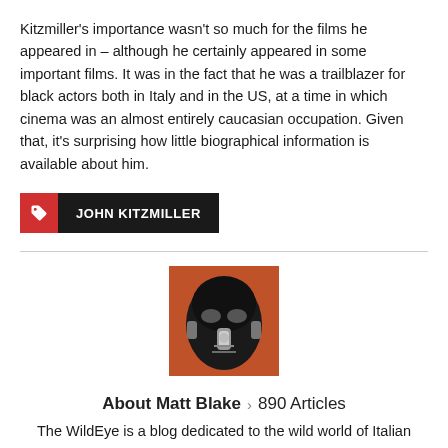Kitzmiller's importance wasn't so much for the films he appeared in – although he certainly appeared in some important films. It was in the fact that he was a trailblazer for black actors both in Italy and in the US, at a time in which cinema was an almost entirely caucasian occupation. Given that, it's surprising how little biographical information is available about him.
JOHN KITZMILLER
[Figure (photo): Author avatar photo showing a masked figure with orange background]
About Matt Blake > 890 Articles
The WildEye is a blog dedicated to the wild world of Italian cinema (and, ok, sometimes I digress into discussing films